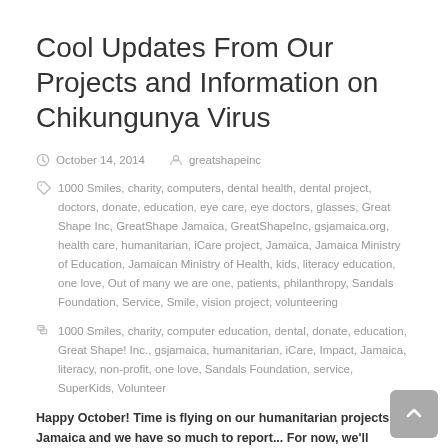Cool Updates From Our Projects and Information on Chikungunya Virus
October 14, 2014   greatshapeinc
1000 Smiles, charity, computers, dental health, dental project, doctors, donate, education, eye care, eye doctors, glasses, Great Shape Inc, GreatShape Jamaica, GreatShapeInc, gsjamaica.org, health care, humanitarian, iCare project, Jamaica, Jamaica Ministry of Education, Jamaican Ministry of Health, kids, literacy education, one love, Out of many we are one, patients, philanthropy, Sandals Foundation, Service, Smile, vision project, volunteering
1000 Smiles, charity, computer education, dental, donate, education, Great Shape! Inc., gsjamaica, humanitarian, iCare, Impact, Jamaica, literacy, non-profit, one love, Sandals Foundation, service, SuperKids, Volunteer
Happy October! Time is flying on our humanitarian projects in Jamaica and we have so much to report... For now, we'll provide a